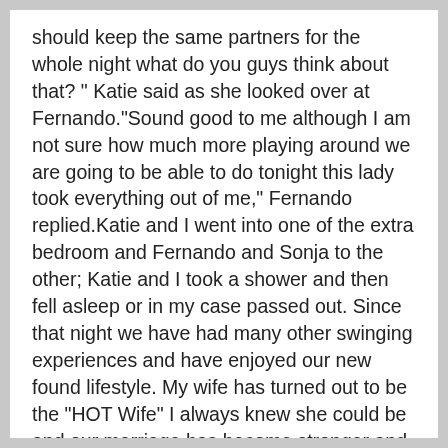should keep the same partners for the whole night what do you guys think about that? " Katie said as she looked over at Fernando."Sound good to me although I am not sure how much more playing around we are going to be able to do tonight this lady took everything out of me," Fernando replied.Katie and I went into one of the extra bedroom and Fernando and Sonja to the other; Katie and I took a shower and then fell asleep or in my case passed out. Since that night we have had many other swinging experiences and have enjoyed our new found lifestyle. My wife has turned out to be the "HOT Wife" I always knew she could be and our marriage has become stronger and we have grown closer as a result of our sexual escapades.